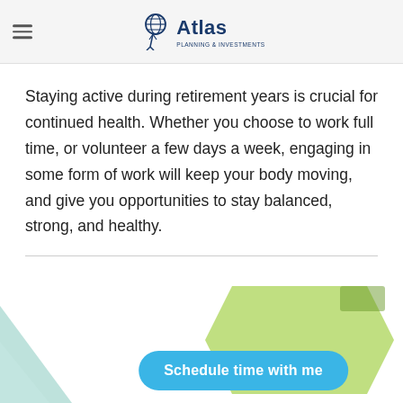Atlas
Staying active during retirement years is crucial for continued health. Whether you choose to work full time, or volunteer a few days a week, engaging in some form of work will keep your body moving, and give you opportunities to stay balanced, strong, and healthy.
[Figure (illustration): Decorative bottom section with teal triangle shape on left, green hexagon shape on right, and a blue rounded button labeled 'Schedule time with me']